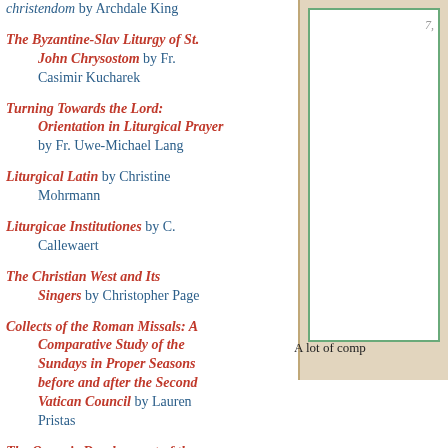Christendom by Archdale King
The Byzantine-Slav Liturgy of St. John Chrysostom by Fr. Casimir Kucharek
Turning Towards the Lord: Orientation in Liturgical Prayer by Fr. Uwe-Michael Lang
Liturgical Latin by Christine Mohrmann
Liturgicae Institutiones by C. Callewaert
The Christian West and Its Singers by Christopher Page
Collects of the Roman Missals: A Comparative Study of the Sundays in Proper Seasons before and after the Second Vatican Council by Lauren Pristas
The Organic Development of the Liturgy by Alcuin Reid
[Figure (photo): Partial view of what appears to be a framed image or book cover on a beige/tan background]
A lot of comp
[Figure (infographic): Share button bar with social media icons: Facebook, Twitter, Email]